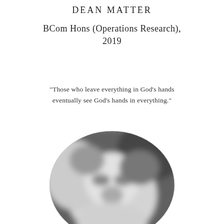DEAN MATTER
BCom Hons (Operations Research), 2019
"Those who leave everything in God's hands eventually see God's hands in everything."
[Figure (photo): Blurred oval portrait photograph of a person in black and white/grayscale]